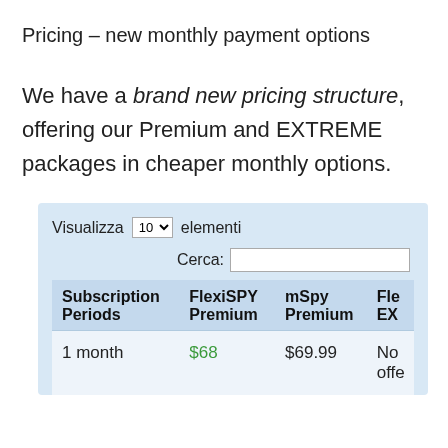Pricing – new monthly payment options
We have a brand new pricing structure, offering our Premium and EXTREME packages in cheaper monthly options.
| Subscription Periods | FlexiSPY Premium | mSpy Premium | Fle EX… |
| --- | --- | --- | --- |
| 1 month | $68 | $69.99 | No offe… |